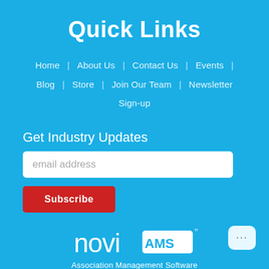Quick Links
Home | About Us | Contact Us | Events | Blog | Store | Join Our Team | Newsletter Sign-up
Get Industry Updates
email address
Subscribe
[Figure (logo): Novi AMS logo - Association Management Software]
Association Management Software
Copyright © 2022 - Climbing Wall Association. Legal